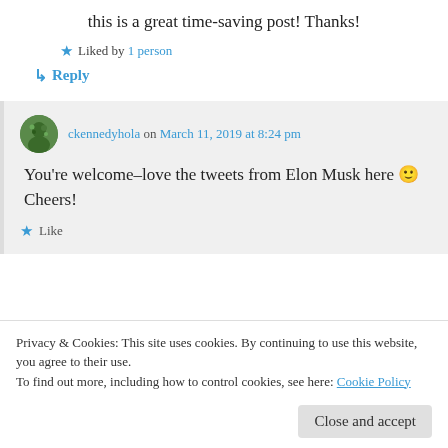this is a great time-saving post! Thanks!
★ Liked by 1 person
↳ Reply
ckennedyhola on March 11, 2019 at 8:24 pm
You're welcome–love the tweets from Elon Musk here 🙂 Cheers!
★ Like
Privacy & Cookies: This site uses cookies. By continuing to use this website, you agree to their use.
To find out more, including how to control cookies, see here: Cookie Policy
Close and accept
Okay, if a Tesla shot out spiral Roggies as Pareve